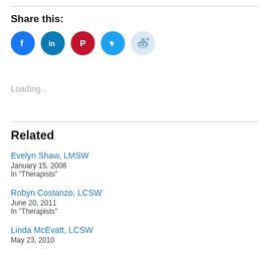Share this:
[Figure (other): Social sharing icons: Facebook (blue), LinkedIn (dark blue), Pinterest (red), Twitter (light blue), Reddit (light blue/grey)]
Loading...
Related
Evelyn Shaw, LMSW
January 15, 2008
In "Therapists"
Robyn Costanzo, LCSW
June 20, 2011
In "Therapists"
Linda McEvatt, LCSW
May 23, 2010